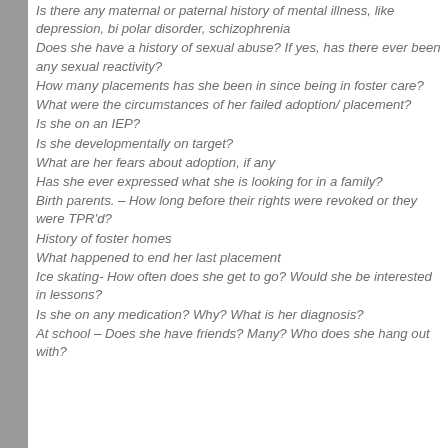Is there any maternal or paternal history of mental illness, like depression, bi polar disorder, schizophrenia
Does she have a history of sexual abuse? If yes, has there ever been any sexual reactivity?
How many placements has she been in since being in foster care?
What were the circumstances of her failed adoption/placement?
Is she on an IEP?
Is she developmentally on target?
What are her fears about adoption, if any
Has she ever expressed what she is looking for in a family?
Birth parents. – How long before their rights were revoked or they were TPR'd?
History of foster homes
What happened to end her last placement
Ice skating- How often does she get to go? Would she be interested in lessons?
Is she on any medication? Why? What is her diagnosis?
At school – Does she have friends? Many? Who does she hang out with?